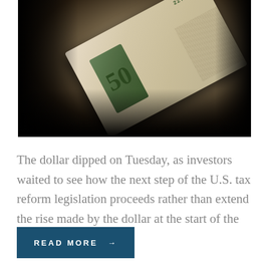[Figure (photo): Close-up photograph of a folded US $50 bill against a dark black background, showing serial number and green numeral 50]
The dollar dipped on Tuesday, as investors waited to see how the next step of the U.S. tax reform legislation proceeds rather than extend the rise made by the dollar at the start of the
READ MORE →